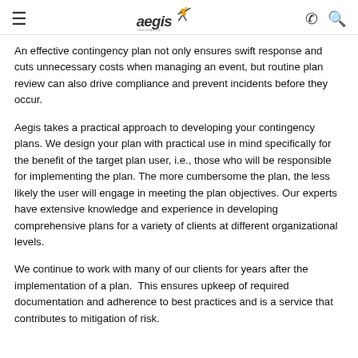Aegis [logo]
An effective contingency plan not only ensures swift response and cuts unnecessary costs when managing an event, but routine plan review can also drive compliance and prevent incidents before they occur.
Aegis takes a practical approach to developing your contingency plans. We design your plan with practical use in mind specifically for the benefit of the target plan user, i.e., those who will be responsible for implementing the plan. The more cumbersome the plan, the less likely the user will engage in meeting the plan objectives. Our experts have extensive knowledge and experience in developing comprehensive plans for a variety of clients at different organizational levels.
We continue to work with many of our clients for years after the implementation of a plan.  This ensures upkeep of required documentation and adherence to best practices and is a service that contributes to mitigation of risk.